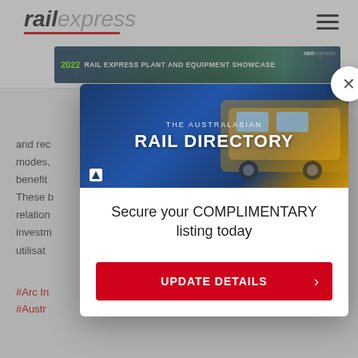rail express
[Figure (screenshot): 2022 Rail Express Plant and Equipment Showcase banner advertisement with rail express logo]
and rec
modes,
benefit
These b
relation
investm
utilisat
#Arc In
#Austr
[Figure (screenshot): The Australasian Rail Directory promotional image showing a yellow train]
Secure your COMPLIMENTARY listing today
[Figure (screenshot): UPDATE DETAILS button with red background and right arrow]